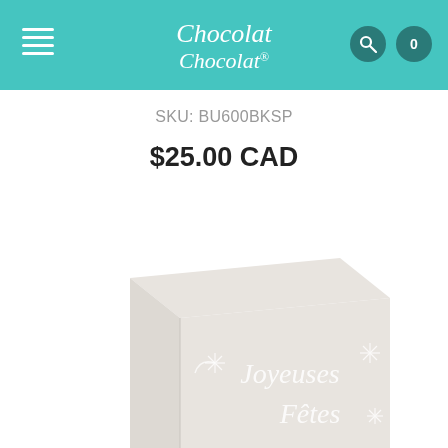Chocolat Chocolat
SKU: BU600BKSP
$25.00 CAD
[Figure (photo): A white gift box with 'Joyeuses Fêtes' written in script with decorative snowflake-style stars on the front and side, photographed at an angle showing the top and front face of the box.]